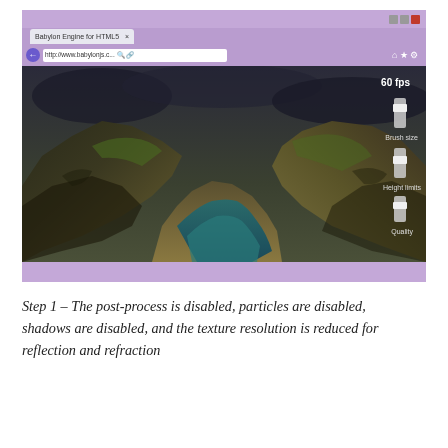[Figure (screenshot): A browser screenshot showing the Babylon Engine for HTML5 Worldmonger demo running in Internet Explorer. The scene displays a 3D terrain with mountains, a river valley, and dark sky. UI controls on the right show sliders for Brush size, Height limits, and Quality. An FPS counter shows 60 fps. The bottom bar shows 'Powered by Babylon.js', 'Gfx by Michel Rousseau - Music by David Rousset', the World Monger logo, and media controls.]
Step 1 – The post-process is disabled, particles are disabled, shadows are disabled, and the texture resolution is reduced for reflection and refraction